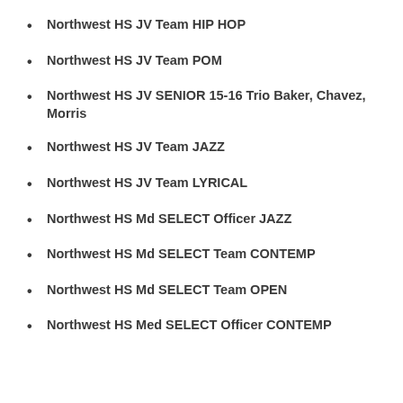Northwest HS JV Team HIP HOP
Northwest HS JV Team POM
Northwest HS JV SENIOR 15-16 Trio Baker, Chavez, Morris
Northwest HS JV Team JAZZ
Northwest HS JV Team LYRICAL
Northwest HS Md SELECT Officer JAZZ
Northwest HS Md SELECT Team CONTEMP
Northwest HS Md SELECT Team OPEN
Northwest HS Med SELECT Officer CONTEMP